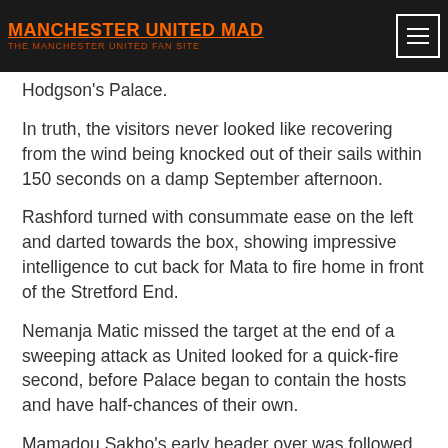MANCHESTER UNITED MAD
Hodgson's Palace.
In truth, the visitors never looked like recovering from the wind being knocked out of their sails within 150 seconds on a damp September afternoon.
Rashford turned with consummate ease on the left and darted towards the box, showing impressive intelligence to cut back for Mata to fire home in front of the Stretford End.
Nemanja Matic missed the target at the end of a sweeping attack as United looked for a quick-fire second, before Palace began to contain the hosts and have half-chances of their own.
Mamadou Sakho's early header over was followed by a string of corners and makeshift striker Bakary Sako